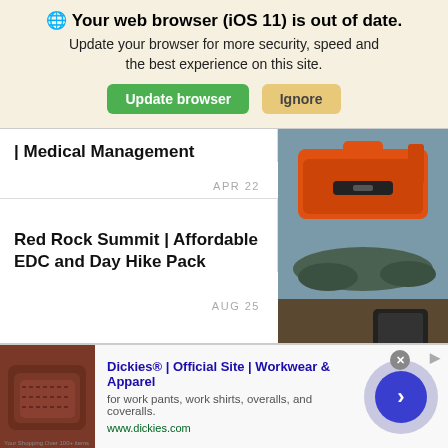🌐 Your web browser (iOS 11) is out of date. Update your browser for more security, speed and the best experience on this site. [Update browser] [Ignore]
| Medical Management
APR 22
[Figure (photo): Orange hard case and camping/outdoor gear on rocky ground]
Red Rock Summit | Affordable EDC and Day Hike Pack
AUG 25
[Figure (photo): Tactical backpack and EDC gear laid out on a surface including pouches, tools, and accessories]
[Figure (photo): Advertisement banner: Dickies® | Official Site | Workwear & Apparel — for work pants, work shirts, overalls, and coveralls. www.dickies.com. Shows a photo of brown leather item on left and a circular arrow button on right.]